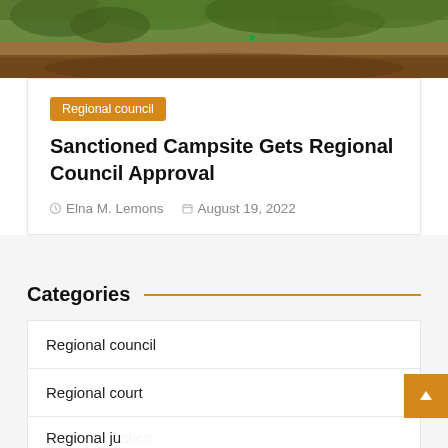[Figure (photo): Outdoor photo showing ground vegetation, plants, and soil/dirt area from above]
Regional council
Sanctioned Campsite Gets Regional Council Approval
Elna M. Lemons   August 19, 2022
Categories
Regional council
Regional court
Regional justice